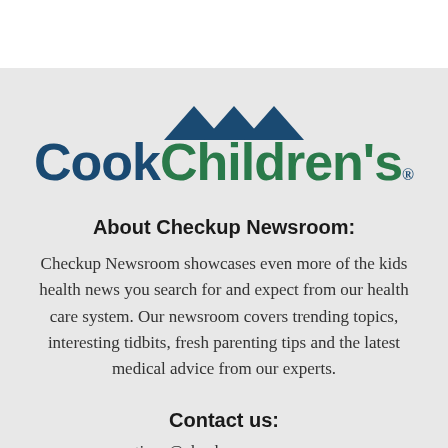[Figure (logo): Cook Children's logo with three dark teal triangles above the text. 'Cook' in dark navy bold, 'Children's' in dark green bold, with registered trademark symbol.]
About Checkup Newsroom:
Checkup Newsroom showcases even more of the kids health news you search for and expect from our health care system. Our newsroom covers trending topics, interesting tidbits, fresh parenting tips and the latest medical advice from our experts.
Contact us:
questions@checkupnewsroom.com
682-885-4000